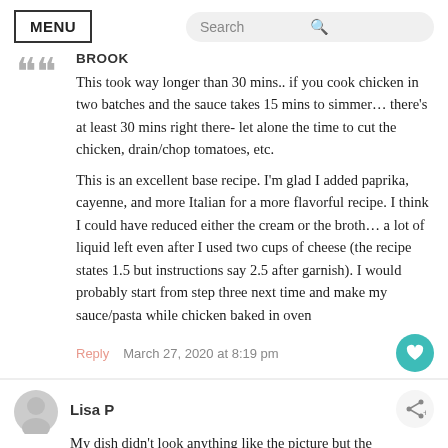MENU | Search
BROOK
This took way longer than 30 mins.. if you cook chicken in two batches and the sauce takes 15 mins to simmer… there's at least 30 mins right there- let alone the time to cut the chicken, drain/chop tomatoes, etc.

This is an excellent base recipe. I'm glad I added paprika, cayenne, and more Italian for a more flavorful recipe. I think I could have reduced either the cream or the broth… a lot of liquid left even after I used two cups of cheese (the recipe states 1.5 but instructions say 2.5 after garnish). I would probably start from step three next time and make my sauce/pasta while chicken baked in oven
Reply  March 27, 2020 at 8:19 pm
Lisa P
My dish didn't look anything like the picture but the